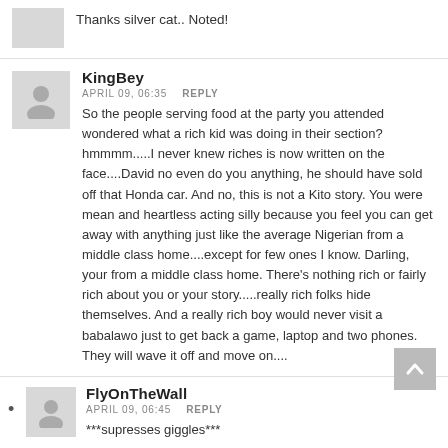Thanks silver cat.. Noted!
KingBey
APRIL 09, 06:35  REPLY
So the people serving food at the party you attended wondered what a rich kid was doing in their section? hmmmm.....I never knew riches is now written on the face....David no even do you anything, he should have sold off that Honda car. And no, this is not a Kito story. You were mean and heartless acting silly because you feel you can get away with anything just like the average Nigerian from a middle class home....except for few ones I know. Darling, your from a middle class home. There's nothing rich or fairly rich about you or your story.....really rich folks hide themselves. And a really rich boy would never visit a babalawo just to get back a game, laptop and two phones. They will wave it off and move on....
FlyOnTheWall
APRIL 09, 06:45  REPLY
***supresses giggles***